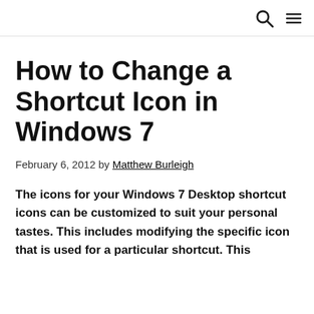[nav bar with search and menu icons]
How to Change a Shortcut Icon in Windows 7
February 6, 2012 by Matthew Burleigh
The icons for your Windows 7 Desktop shortcut icons can be customized to suit your personal tastes. This includes modifying the specific icon that is used for a particular shortcut. This